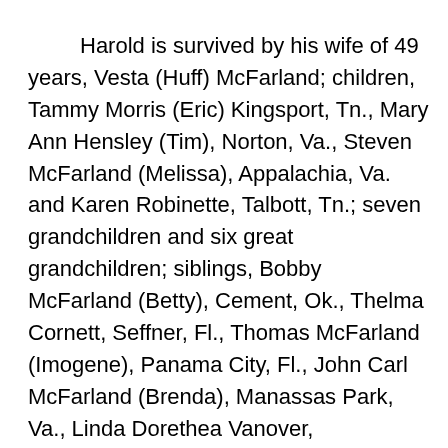Harold is survived by his wife of 49 years, Vesta (Huff) McFarland; children, Tammy Morris (Eric) Kingsport, Tn., Mary Ann Hensley (Tim), Norton, Va., Steven McFarland (Melissa), Appalachia, Va. and Karen Robinette, Talbott, Tn.; seven grandchildren and six great grandchildren; siblings, Bobby McFarland (Betty), Cement, Ok., Thelma Cornett, Seffner, Fl., Thomas McFarland (Imogene), Panama City, Fl., John Carl McFarland (Brenda), Manassas Park, Va., Linda Dorethea Vanover,